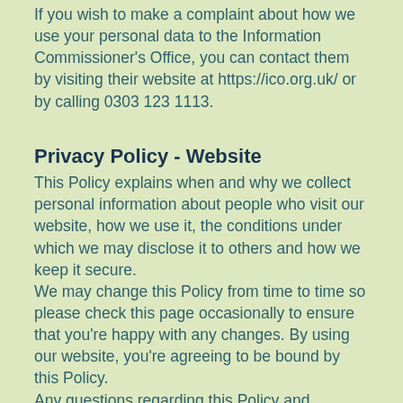If you wish to make a complaint about how we use your personal data to the Information Commissioner's Office, you can contact them by visiting their website at https://ico.org.uk/ or by calling 0303 123 1113.
Privacy Policy - Website
This Policy explains when and why we collect personal information about people who visit our website, how we use it, the conditions under which we may disclose it to others and how we keep it secure.
We may change this Policy from time to time so please check this page occasionally to ensure that you're happy with any changes. By using our website, you're agreeing to be bound by this Policy.
Any questions regarding this Policy and